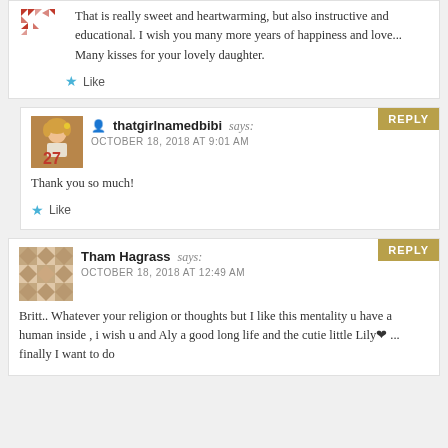That is really sweet and heartwarming, but also instructive and educational. I wish you many more years of happiness and love... Many kisses for your lovely daughter.
Like
[Figure (photo): Avatar image of thatgirlnamedbibi holding a number 27 balloon]
thatgirlnamedbibi says: OCTOBER 18, 2018 AT 9:01 AM
Thank you so much!
Like
[Figure (illustration): Tan geometric pattern avatar for Tham Hagrass]
Tham Hagrass says: OCTOBER 18, 2018 AT 12:49 AM
Britt.. Whatever your religion or thoughts but I like this mentality u have a human inside , i wish u and Aly a good long life and the cutie little Lily ❤ ... finally I want to do